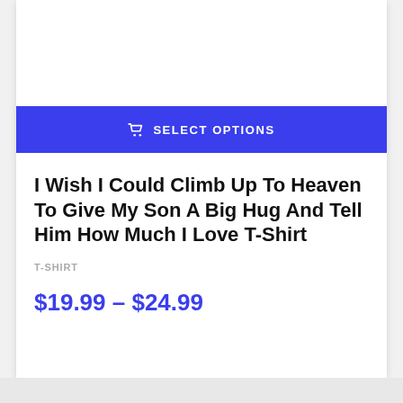[Figure (other): White product image area (top of card, cropped)]
SELECT OPTIONS
I Wish I Could Climb Up To Heaven To Give My Son A Big Hug And Tell Him How Much I Love T-Shirt
T-SHIRT
$19.99 – $24.99